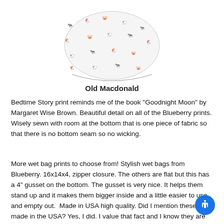[Figure (photo): A wet bag with 'Old Macdonald' print featuring farm animal illustrations in black, white, and pink on a white background.]
Old Macdonald
Bedtime Story print reminds me of the book "Goodnight Moon" by Margaret Wise Brown. Beautiful detail on all of the Blueberry prints. Wisely sewn with room at the bottom that is one piece of fabric so that there is no bottom seam so no wicking.
More wet bag prints to choose from! Stylish wet bags from Blueberry. 16x14x4, zipper closure. The others are flat but this has a 4" gusset on the bottom. The gusset is very nice. It helps them stand up and it makes them bigger inside and a little easier to use and empty out.  Made in USA high quality. Did I mention these are made in the USA? Yes, I did. I value that fact and I know they are high